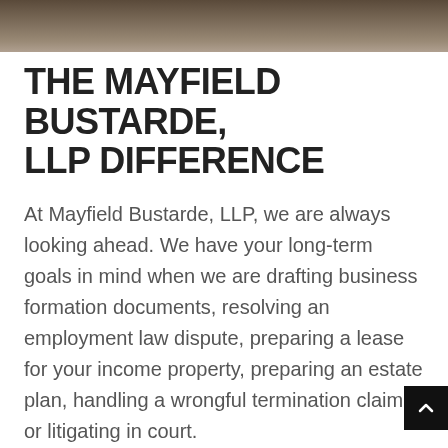[Figure (photo): Partial photo strip at top of page showing people in business attire, cropped to just shoes/lower body area]
THE MAYFIELD BUSTARDE, LLP DIFFERENCE
At Mayfield Bustarde, LLP, we are always looking ahead. We have your long-term goals in mind when we are drafting business formation documents, resolving an employment law dispute, preparing a lease for your income property, preparing an estate plan, handling a wrongful termination claim or litigating in court.
This approach influences the relationship we ha